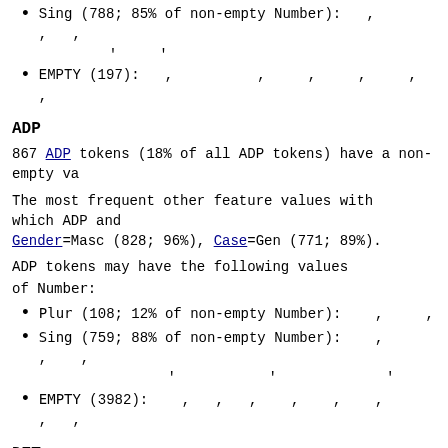Sing (788; 85% of non-empty Number): , , ,
EMPTY (197): , , , , , ,
ADP
867 ADP tokens (18% of all ADP tokens) have a non-empty va
The most frequent other feature values with which ADP and Gender=Masc (828; 96%), Case=Gen (771; 89%).
ADP tokens may have the following values of Number:
Plur (108; 12% of non-empty Number): , ,
Sing (759; 88% of non-empty Number): , , ,
EMPTY (3982): , , , , , , , ,
DET
470 DET tokens (54% of all DET tokens) have a non-empty va
The most frequent other feature values with which DET and